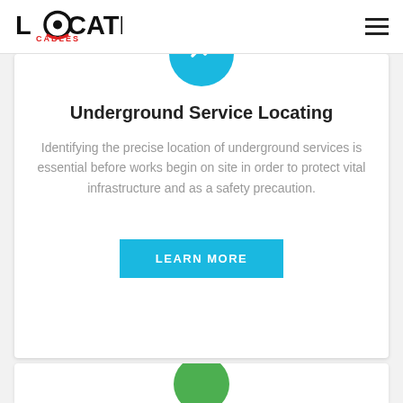LOCATE CABLES
[Figure (logo): Locate Cables logo with circular target icon and red swoosh, hamburger menu icon on the right]
Underground Service Locating
Identifying the precise location of underground services is essential before works begin on site in order to protect vital infrastructure and as a safety precaution.
LEARN MORE